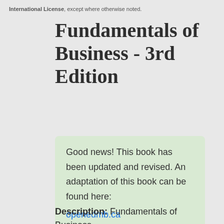International License, except where otherwise noted.
Fundamentals of Business - 3rd Edition
Good news! This book has been updated and revised. An adaptation of this book can be found here: openedmb.ca
Description: Fundamentals of Business